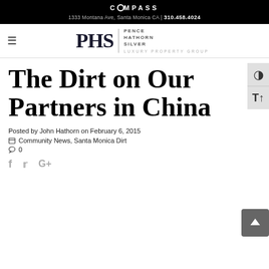COMPASS
1333 Montana Ave, Santa Monica CA | 310.458.4024
[Figure (logo): PHS Pence Hathorn Silver Luxury Property Group logo with hamburger menu icon]
The Dirt on Our Partners in China
Posted by John Hathorn on February 6, 2015
Community News, Santa Monica Dirt
0
[Figure (infographic): Social share icons: Facebook, Twitter, Google+]